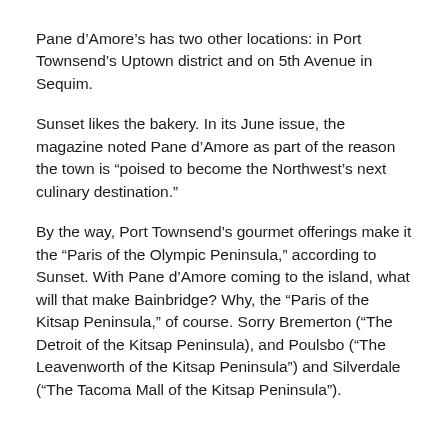Pane d’Amore’s has two other locations: in Port Townsend’s Uptown district and on 5th Avenue in Sequim.
Sunset likes the bakery. In its June issue, the magazine noted Pane d’Amore as part of the reason the town is “poised to become the Northwest’s next culinary destination.”
By the way, Port Townsend’s gourmet offerings make it the “Paris of the Olympic Peninsula,” according to Sunset. With Pane d’Amore coming to the island, what will that make Bainbridge? Why, the “Paris of the Kitsap Peninsula,” of course. Sorry Bremerton (“The Detroit of the Kitsap Peninsula), and Poulsbo (“The Leavenworth of the Kitsap Peninsula”) and Silverdale (“The Tacoma Mall of the Kitsap Peninsula”).